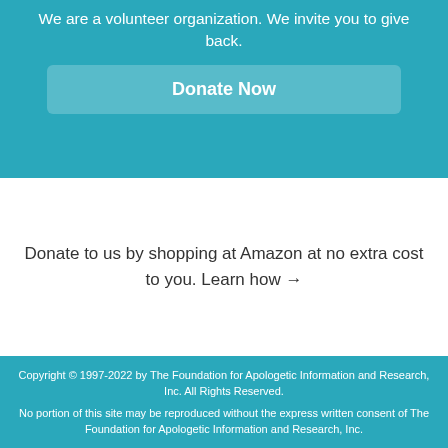We are a volunteer organization. We invite you to give back.
Donate Now
Donate to us by shopping at Amazon at no extra cost to you. Learn how →
Copyright © 1997-2022 by The Foundation for Apologetic Information and Research, Inc. All Rights Reserved.

No portion of this site may be reproduced without the express written consent of The Foundation for Apologetic Information and Research, Inc.